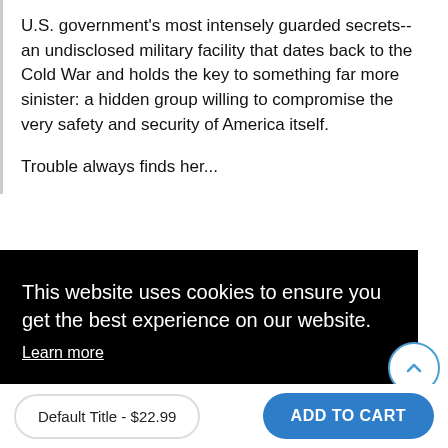U.S. government's most intensely guarded secrets--an undisclosed military facility that dates back to the Cold War and holds the key to something far more sinister: a hidden group willing to compromise the very safety and security of America itself.
Trouble always finds her...
This website uses cookies to ensure you get the best experience on our website.
Learn more
Got it!
Default Title - $22.99
ADD TO CART